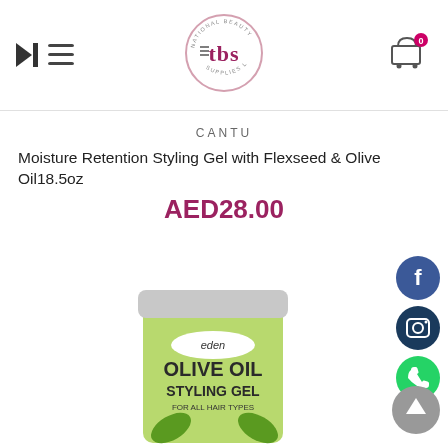[Figure (logo): TBS International Beauty Supplies LLC circular logo with pink border and stylized tbs text]
[Figure (other): Shopping cart icon with badge showing 0]
CANTU
Moisture Retention Styling Gel with Flexseed & Olive Oil18.5oz
AED28.00
[Figure (other): Facebook social media button - blue circle with f icon]
[Figure (other): Instagram social media button - dark circle with camera icon]
[Figure (other): WhatsApp social media button - green circle with phone icon]
[Figure (photo): Eden Olive Oil Styling Gel for All Hair Types product jar, green color, partially visible]
[Figure (other): Scroll to top button - grey circle with upward arrow]